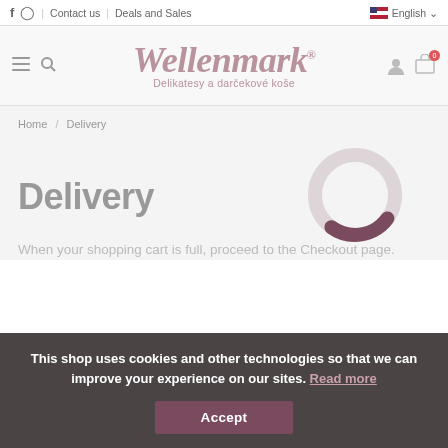f  Instagram  |  Contact us  |  Deals and Sales  |  English
[Figure (logo): Wellenmark logo with cursive text and subtitle 'Delikatesy a darcekove kose']
Home / Delivery
Delivery
[Figure (other): Loading spinner / donut chart indicator, partially filled in dark mauve]
When your shopping cart is full, proceed to the Checkout page.
This shop uses cookies and other technologies so that we can improve your experience on our sites. Read more
Accept